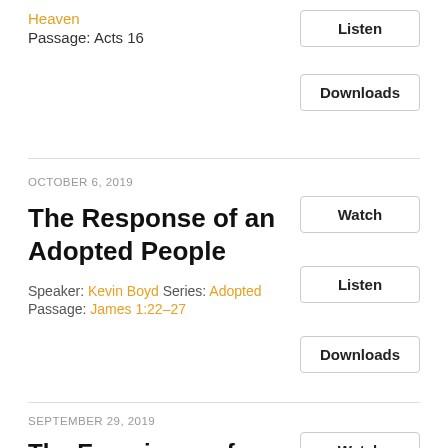Heaven
Passage: Acts 16
Listen
Downloads
OCTOBER 6, 2019
The Response of an Adopted People
Speaker: Kevin Boyd Series: Adopted
Passage: James 1:22–27
Watch
Listen
Downloads
SEPTEMBER 29, 2019
The Experience of God's